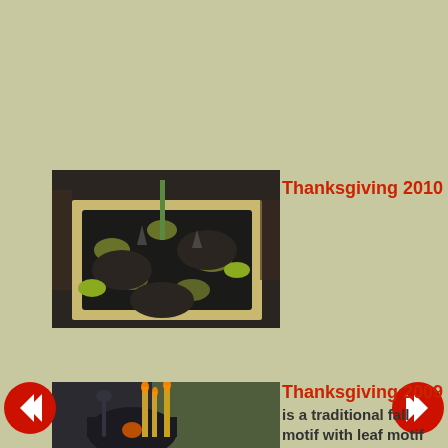[Figure (photo): A Thanksgiving 2010 table setting with dark plates and green bowls on a floral black and white tablecloth with candles]
Thanksgiving 2010
[Figure (photo): A Thanksgiving 2009 table setting with dark cookware and gold candles with fall decorations]
Thanksgiving 2009
is a traditional fall motif with leaf motif including